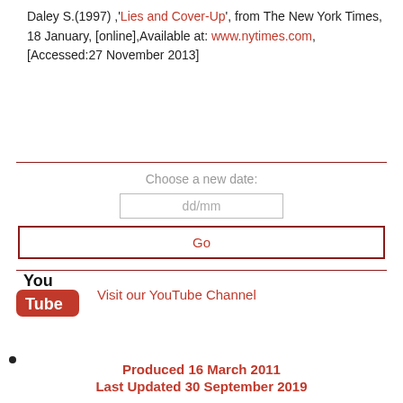Daley S.(1997) ,'Lies and Cover-Up', from The New York Times, 18 January, [online],Available at: www.nytimes.com, [Accessed:27 November 2013]
[Figure (other): Date picker widget with label 'Choose a new date:', input box showing 'dd/mm', and a Go button, bordered top and bottom with dark red lines]
[Figure (logo): YouTube logo icon - red square with rounded corners containing white 'Tube' text, with 'You' above in black bold text]
Visit our YouTube Channel
Produced 16 March 2011
Last Updated 30 September 2019